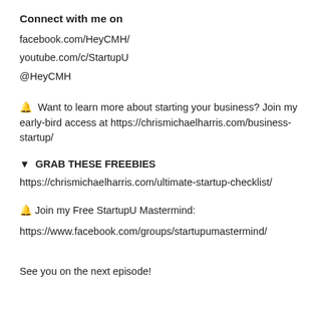Connect with me on
facebook.com/HeyCMH/
youtube.com/c/StartupU
@HeyCMH
🔔  Want to learn more about starting your business? Join my early-bird access at https://chrismichaelharris.com/business-startup/
▼  GRAB THESE FREEBIES
https://chrismichaelharris.com/ultimate-startup-checklist/
🔔 Join my Free StartupU Mastermind:
https://www.facebook.com/groups/startupumastermind/
See you on the next episode!